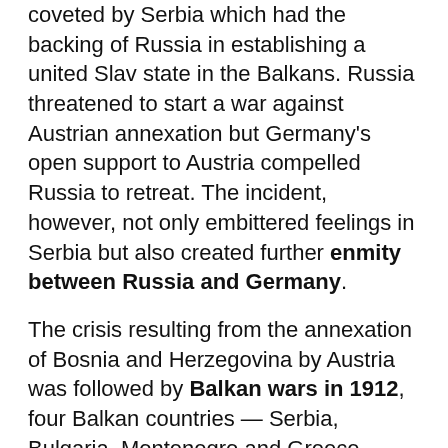coveted by Serbia which had the backing of Russia in establishing a united Slav state in the Balkans. Russia threatened to start a war against Austrian annexation but Germany's open support to Austria compelled Russia to retreat. The incident, however, not only embittered feelings in Serbia but also created further enmity between Russia and Germany.
The crisis resulting from the annexation of Bosnia and Herzegovina by Austria was followed by Balkan wars in 1912, four Balkan countries — Serbia, Bulgaria, Montenegro and Greece —started a war against the Turks. As a result of this war, Turkey lost almost all her possessions in Europe However, the Balkan countries fought another war over the question of distributing the former Turkish territory among them. Finally, Austria succeeded in making Albania, which had been claimed by Serbia, as an independent state. The frustration of Serbia's ambitions further embittered her feelings against Austria. These incidents brought Europe on the verge of war